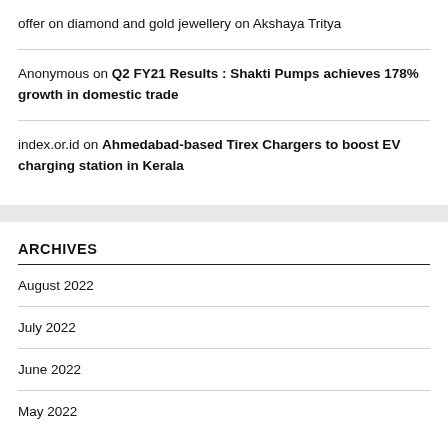offer on diamond and gold jewellery on Akshaya Tritya
Anonymous on Q2 FY21 Results : Shakti Pumps achieves 178% growth in domestic trade
index.or.id on Ahmedabad-based Tirex Chargers to boost EV charging station in Kerala
ARCHIVES
August 2022
July 2022
June 2022
May 2022